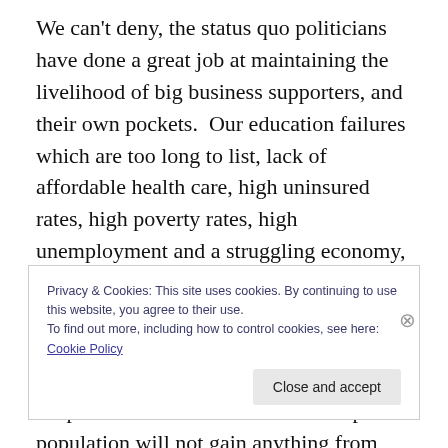We can't deny, the status quo politicians have done a great job at maintaining the livelihood of big business supporters, and their own pockets.  Our education failures which are too long to list, lack of affordable health care, high uninsured rates, high poverty rates, high unemployment and a struggling economy, to name a few issues are proof that the status quo need to go. Living in the 12th largest economy does not matter to the man or woman who can't find a job. The Hispanic vote means little if the Hispanic population will not gain anything from supporting the same-old status quo
Privacy & Cookies: This site uses cookies. By continuing to use this website, you agree to their use.
To find out more, including how to control cookies, see here: Cookie Policy
Close and accept